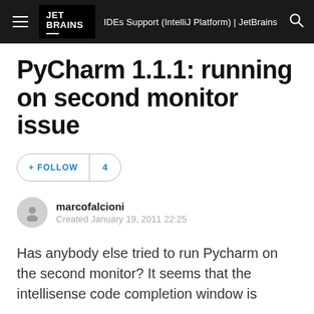IDEs Support (IntelliJ Platform) | JetBrains
PyCharm 1.1.1: running on second monitor issue
+ FOLLOW  4
marcofalcioni
Created January 19, 2011 22:25
Has anybody else tried to run Pycharm on the second monitor? It seems that the intellisense code completion window is stuck on the bottom right of the first